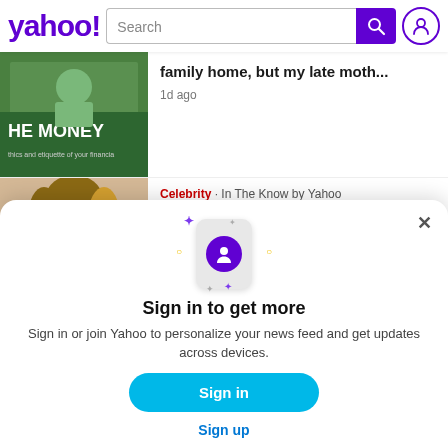[Figure (screenshot): Yahoo logo with search bar and user icon in header]
[Figure (photo): Thumbnail image showing book cover with text HE MONEY, ethics and etiquette of your financia]
family home, but my late moth...
1d ago
[Figure (photo): Thumbnail image of a woman]
Celebrity · In The Know by Yahoo
American woman dumbfounded
[Figure (screenshot): Sign in modal overlay with phone icon showing user avatar, sparkles decoration, Sign in to get more text, Sign in button, and Sign up link]
Sign in to get more
Sign in or join Yahoo to personalize your news feed and get updates across devices.
Sign in
Sign up